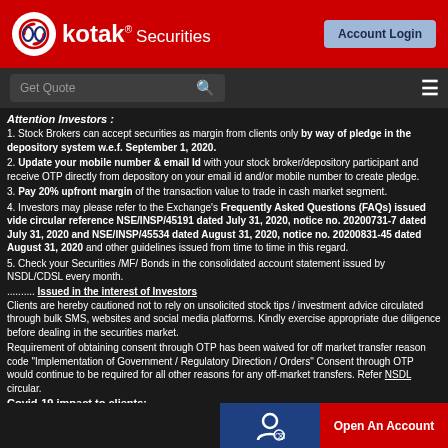Kotak Securities | Account Login
Attention Investors :
1. Stock Brokers can accept securities as margin from clients only by way of pledge in the depository system w.e.f. September 1, 2020.
2. Update your mobile number & email Id with your stock broker/depository participant and receive OTP directly from depository on your email id and/or mobile number to create pledge.
3. Pay 20% upfront margin of the transaction value to trade in cash market segment.
4. Investors may please refer to the Exchange's Frequently Asked Questions (FAQs) issued vide circular reference NSE/INSP/45191 dated July 31, 2020, notice no. 20200731-7 dated July 31, 2020 and NSE/INSP/45534 dated August 31, 2020, notice no. 20200831-45 dated August 31, 2020 and other guidelines issued from time to time in this regard.
5. Check your Securities /MF/ Bonds in the consolidated account statement issued by NSDL/CDSL every month.
.......... Issued in the interest of Investors
Clients are hereby cautioned not to rely on unsolicited stock tips / investment advice circulated through bulk SMS, websites and social media platforms. Kindly exercise appropriate due diligence before dealing in the securities market.
Requirement of obtaining consent through OTP has been waived for off market transfer reason code "Implementation of Government / Regulatory Direction / Orders" Consent through OTP would continue to be required for all other reasons for any off-market transfers. Refer NSDL circular.
Covid-19 impact to clients:-